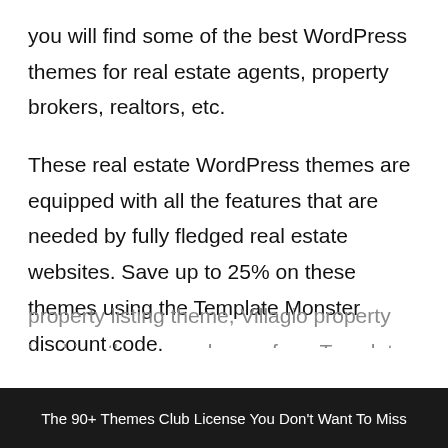you will find some of the best WordPress themes for real estate agents, property brokers, realtors, etc.
These real estate WordPress themes are equipped with all the features that are needed by fully fledged real estate websites. Save up to 25% on these themes using the Template Monster discount code.
Some of the best REal estate themes from Template Monster are: Bellaina WordPress property listing theme, Villagio property booking theme, and more from Template Monster.
The 90+ Themes Club License You Don't Want To Miss